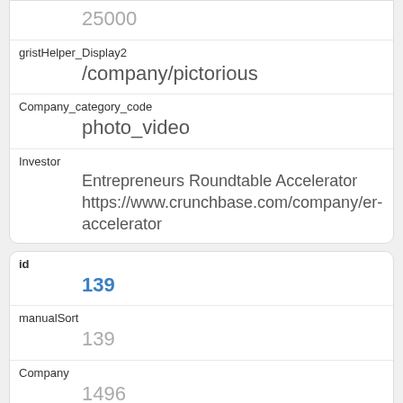| 25000 |
| gristHelper_Display2 | /company/pictorious |
| Company_category_code | photo_video |
| Investor | Entrepreneurs Roundtable Accelerator
https://www.crunchbase.com/company/er-accelerator |
| id | 139 |
| manualSort | 139 |
| Company | 1496 |
| investor_permalink | /company/er-accelerator |
| investor_name | Entrepreneurs Roundtable Accelerator |